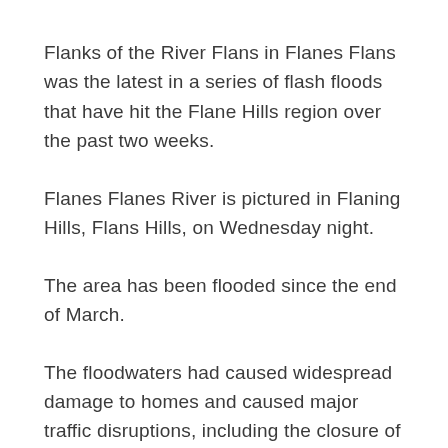Flanks of the River Flans in Flanes Flans was the latest in a series of flash floods that have hit the Flane Hills region over the past two weeks.
Flanes Flanes River is pictured in Flaning Hills, Flans Hills, on Wednesday night.
The area has been flooded since the end of March.
The floodwaters had caused widespread damage to homes and caused major traffic disruptions, including the closure of several major roads in the area.
The city said it would reopen its roads by Monday, but some residents were forced to drive out of town and